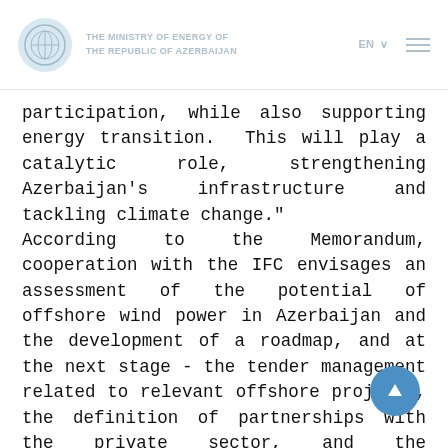THE MINISTRY OF ENERGY OF THE REPUBLIC OF AZERBAIJAN
participation, while also supporting energy transition. This will play a catalytic role, strengthening Azerbaijan’s infrastructure and tackling climate change.” According to the Memorandum, cooperation with the IFC envisages an assessment of the potential of offshore wind power in Azerbaijan and the development of a roadmap, and at the next stage - the tender management related to relevant offshore projects, the definition of partnerships with the private sector, and the implementation of auxiliary investments.